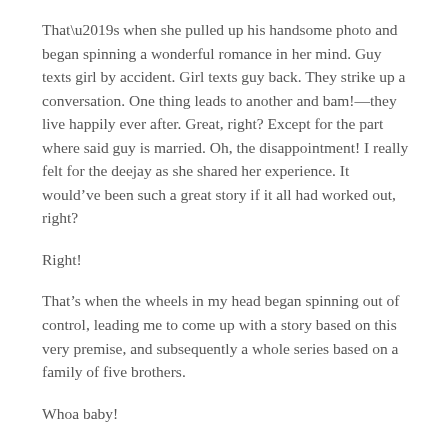That’s when she pulled up his handsome photo and began spinning a wonderful romance in her mind. Guy texts girl by accident. Girl texts guy back. They strike up a conversation. One thing leads to another and bam!—they live happily ever after. Great, right? Except for the part where said guy is married. Oh, the disappointment! I really felt for the deejay as she shared her experience. It would’ve been such a great story if it all had worked out, right?
Right!
That’s when the wheels in my head began spinning out of control, leading me to come up with a story based on this very premise, and subsequently a whole series based on a family of five brothers.
Whoa baby!
It was my first time plotting out a whole series from beginning to end before I started writing. And boy, was it fun! I began searching for images I could use for the covers, and found five